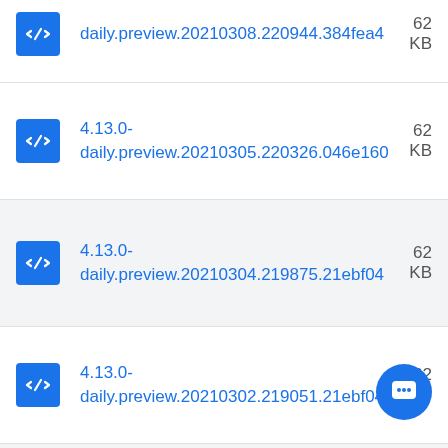4.13.0-daily.preview.20210308.220944.384fea4 KB
4.13.0-daily.preview.20210305.220326.046e160 KB
4.13.0-daily.preview.20210304.219875.21ebf04 KB
4.13.0-daily.preview.20210302.219051.21ebf04 KB
4.13.0-